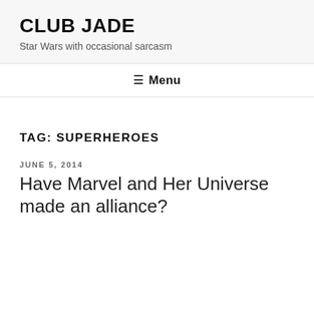CLUB JADE
Star Wars with occasional sarcasm
☰ Menu
TAG: SUPERHEROES
JUNE 5, 2014
Have Marvel and Her Universe made an alliance?